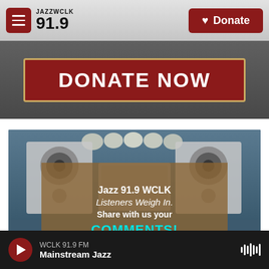[Figure (screenshot): Jazz WCLK 91.9 radio station website screenshot showing navigation bar with logo and Donate button]
[Figure (screenshot): DONATE NOW red banner button with gold border on dark background]
[Figure (photo): Radio studio speakers photo with overlay text: Jazz 91.9 WCLK Listeners Weigh In. Share with us your COMMENTS!]
WCLK 91.9 FM
Mainstream Jazz